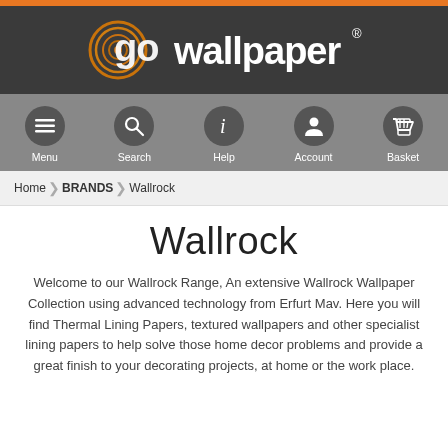[Figure (logo): go wallpaper logo with orange spiral on dark background]
[Figure (infographic): Navigation bar with Menu, Search, Help, Account, Basket icons]
Home > BRANDS > Wallrock
Wallrock
Welcome to our Wallrock Range, An extensive Wallrock Wallpaper Collection using advanced technology from Erfurt Mav. Here you will find Thermal Lining Papers, textured wallpapers and other specialist lining papers to help solve those home decor problems and provide a great finish to your decorating projects, at home or the work place.